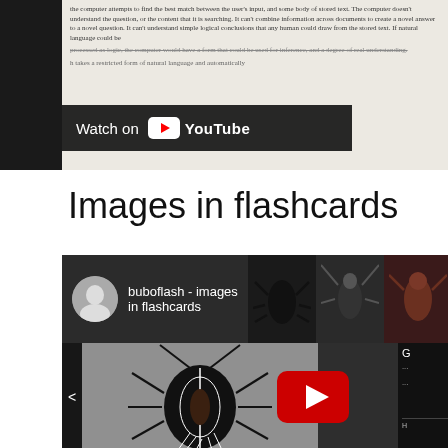[Figure (screenshot): Top portion of a document screenshot showing text about natural language processing and information retrieval, with a 'Watch on YouTube' overlay bar]
Images in flashcards
[Figure (screenshot): YouTube video embed showing 'buboflash - images in flashcards' with channel avatar, beetle insect thumbnails in top strip, and a large beetle illustration with YouTube play button in the lower section]